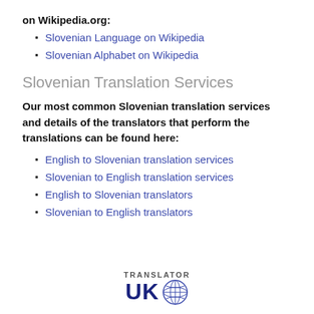on Wikipedia.org:
Slovenian Language on Wikipedia
Slovenian Alphabet on Wikipedia
Slovenian Translation Services
Our most common Slovenian translation services and details of the translators that perform the translations can be found here:
English to Slovenian translation services
Slovenian to English translation services
English to Slovenian translators
Slovenian to English translators
[Figure (logo): Translator UK logo with globe icon]